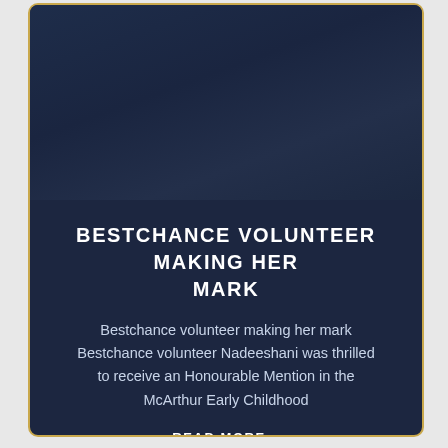[Figure (photo): Dark navy blue card with image area at top, showing a darkened/empty image placeholder with deep blue gradient tones.]
BESTCHANCE VOLUNTEER MAKING HER MARK
Bestchance volunteer making her mark Bestchance volunteer Nadeeshani was thrilled to receive an Honourable Mention in the McArthur Early Childhood
READ MORE »
3 February, 2022